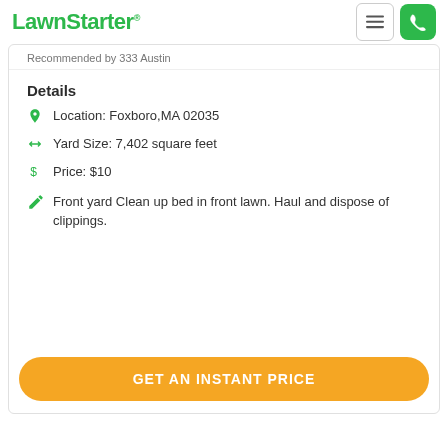LawnStarter
Recommended by 333 Austin
Details
Location: Foxboro,MA 02035
Yard Size: 7,402 square feet
Price: $10
Front yard Clean up bed in front lawn. Haul and dispose of clippings.
GET AN INSTANT PRICE